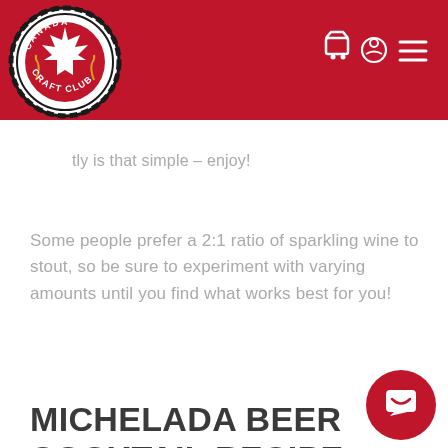Canada Craft Club
tly is that simple – enjoy!
Some people prefer a 2:1 ratio of sparkling wine to stout, so be sure to experiment with varying amounts until you find what works best for you!
MICHELADA BEER COCKTAIL RECIPE